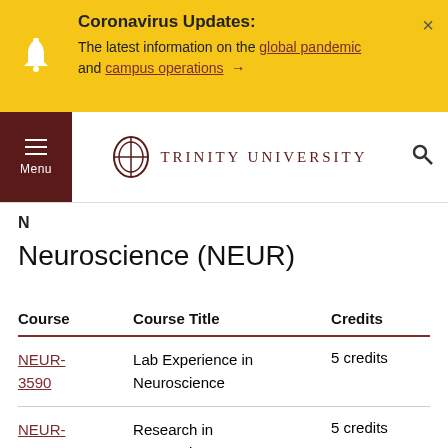Coronavirus Updates: The latest information on the global pandemic and campus operations →
[Figure (screenshot): Trinity University navigation bar with hamburger menu and logo]
N
Neuroscience (NEUR)
| Course | Course Title | Credits |
| --- | --- | --- |
| NEUR-3590 | Lab Experience in Neuroscience | 5 credits |
| NEUR-4590 | Research in Neuroscience | 5 credits |